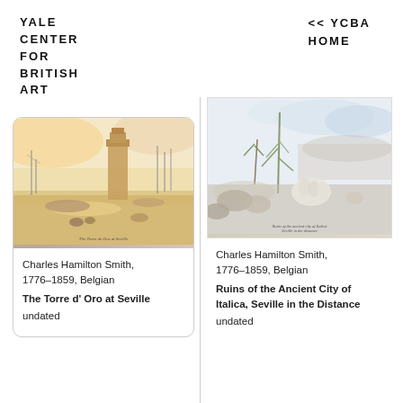YALE CENTER FOR BRITISH ART
<< YCBA HOME
[Figure (illustration): Watercolor painting of Torre d'Oro at Seville with boats on the river, warm yellow and orange tones, labeled 'The Torre de Oro at Seville' at bottom]
Charles Hamilton Smith, 1776–1859, Belgian
The Torre d' Oro at Seville
undated
[Figure (illustration): Watercolor painting of ruins of the ancient city of Italica with figures in white robes in foreground and Seville in the distance, soft green and blue tones]
Charles Hamilton Smith, 1776–1859, Belgian
Ruins of the Ancient City of Italica, Seville in the Distance
undated